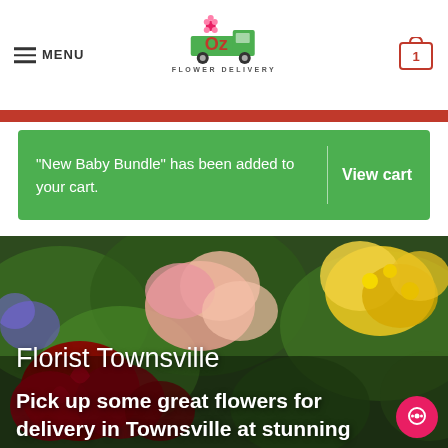[Figure (logo): OZ Flower Delivery logo with a truck and flower icon]
MENU
1 (cart badge)
"New Baby Bundle" has been added to your cart.
View cart
[Figure (photo): Background photo of colorful flowers including pink, yellow, and red blooms with green foliage]
Florist Townsville
Pick up some great flowers for delivery in Townsville at stunning